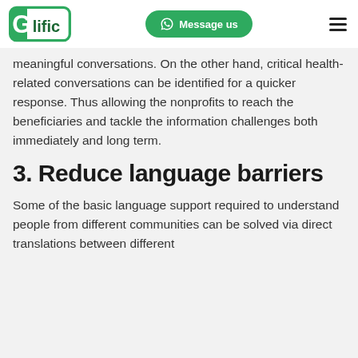Glific | Message us
meaningful conversations. On the other hand, critical health-related conversations can be identified for a quicker response. Thus allowing the nonprofits to reach the beneficiaries and tackle the information challenges both immediately and long term.
3. Reduce language barriers
Some of the basic language support required to understand people from different communities can be solved via direct translations between different